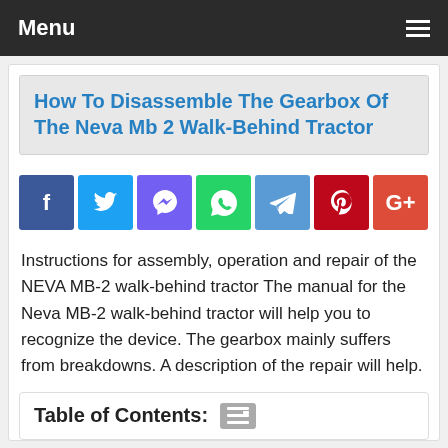Menu
How To Disassemble The Gearbox Of The Neva Mb 2 Walk-Behind Tractor
[Figure (infographic): Row of 7 social share buttons: Facebook (blue), Twitter (light blue), Viber (purple), WhatsApp (green), Telegram (steel blue), Pinterest (dark red), Google+ (orange-red)]
Instructions for assembly, operation and repair of the NEVA MB-2 walk-behind tractor The manual for the Neva MB-2 walk-behind tractor will help you to recognize the device. The gearbox mainly suffers from breakdowns. A description of the repair will help.
Table of Contents: